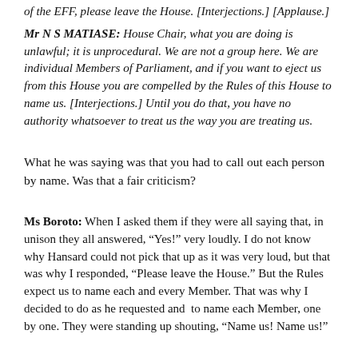of the EFF, please leave the House. [Interjections.] [Applause.]
Mr N S MATIASE: House Chair, what you are doing is unlawful; it is unprocedural. We are not a group here. We are individual Members of Parliament, and if you want to eject us from this House you are compelled by the Rules of this House to name us. [Interjections.] Until you do that, you have no authority whatsoever to treat us the way you are treating us.
What he was saying was that you had to call out each person by name. Was that a fair criticism?
Ms Boroto: When I asked them if they were all saying that, in unison they all answered, “Yes!” very loudly. I do not know why Hansard could not pick that up as it was very loud, but that was why I responded, “Please leave the House.” But the Rules expect us to name each and every Member. That was why I decided to do as he requested and to name each Member, one by one. They were standing up shouting, “Name us! Name us!”